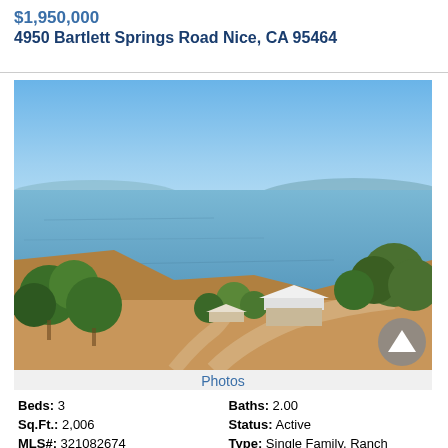$1,950,000
4950 Bartlett Springs Road Nice, CA 95464
[Figure (photo): Aerial drone photo of a ranch-style house surrounded by oak trees on a hillside overlooking a large lake with mountains in the background under a clear blue sky.]
Photos
| Beds: 3 | Baths: 2.00 |
| Sq.Ft.: 2,006 | Status: Active |
| MLS#: 321082674 | Type: Single Family, Ranch |
| Lot size: 94.7 Acres | Year built: 1994 |